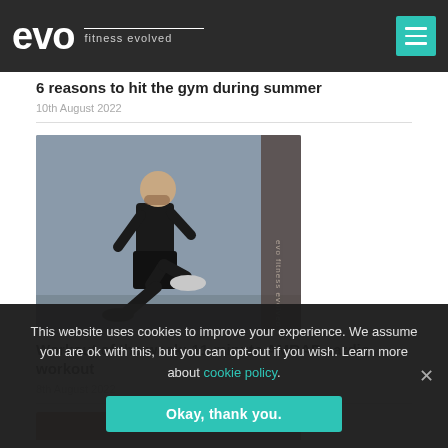evo fitness evolved
6 reasons to hit the gym during summer
10th August 2022
[Figure (photo): Man running in black athletic wear against a concrete wall background]
Workout of the week: 11-minute AMRAP cardio workout
8th August 2022
This website uses cookies to improve your experience. We assume you are ok with this, but you can opt-out if you wish. Learn more about cookie policy.